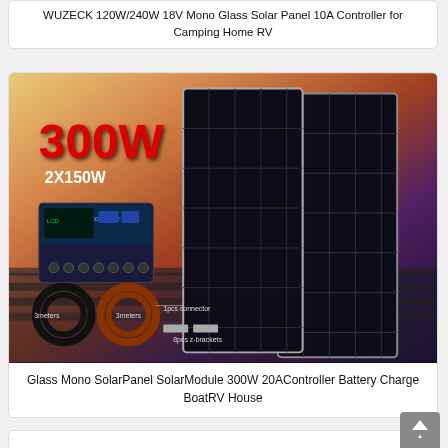WUZECK 120W/240W 18V Mono Glass Solar Panel 10A Controller for Camping Home RV
[Figure (photo): Product photo of a 300W solar panel kit (2x150W) with 20A charge controller, cables, connectors, and z-brackets, shown against a sunset sky background]
Glass Mono SolarPanel SolarModule 300W 20AController Battery Charge BoatRV House